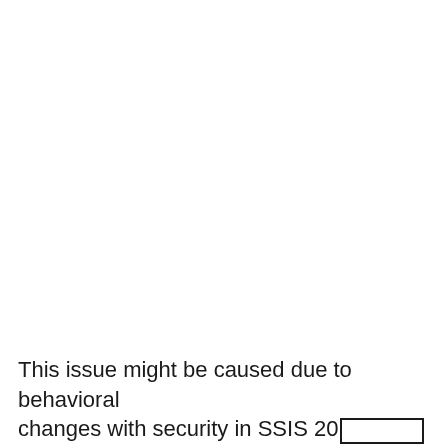This issue might be caused due to behavioral changes with security in SSIS 20[redacted]